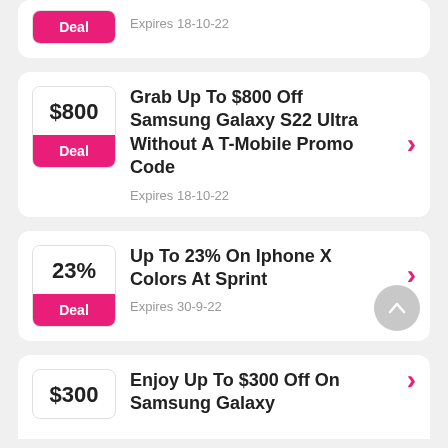Deal | Expires 18-10-22
Grab Up To $800 Off Samsung Galaxy S22 Ultra Without A T-Mobile Promo Code | $800 | Deal | Expires 18-10-22
Up To 23% On Iphone X Colors At Sprint | 23% | Deal | Expires 30-9-22
Enjoy Up To $300 Off On Samsung Galaxy... | $300 | Deal